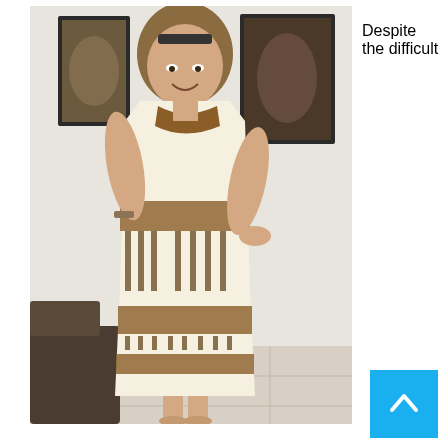[Figure (photo): A woman standing indoors wearing a sleeveless cream and brown African-print dress with cultural motifs. She is smiling, has sunglasses on her head, and has her hand on her hip. Behind her are framed wall art pieces. The floor is tiled.]
Despite the difficult
[Figure (other): Blue square scroll-to-top button with white upward chevron arrow]